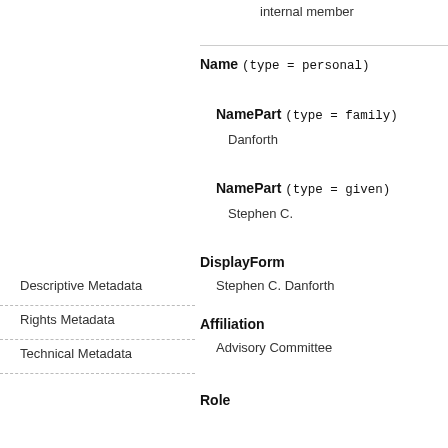internal member
Name (type = personal)
NamePart (type = family)
Danforth
NamePart (type = given)
Stephen C.
DisplayForm
Stephen C. Danforth
Descriptive Metadata
Rights Metadata
Technical Metadata
Affiliation
Advisory Committee
Role